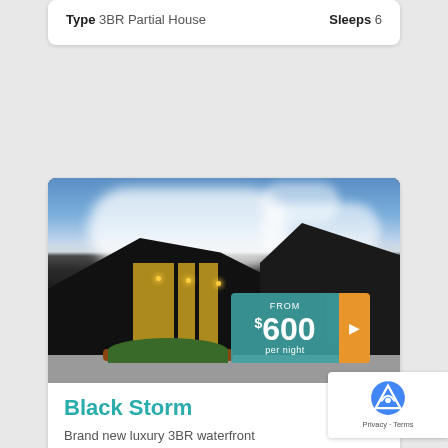Type 3BR Partial House    Sleeps 6
[Figure (photo): Exterior photo of a modern black house with pitched roofline, large yellow-lit windows, landscaping with green shrubs and red mulch, gravel driveway, and a partly cloudy blue sky. Price overlay badge shows FROM $600 per night with an orange arrow button.]
Black Storm
Brand new luxury 3BR waterfront